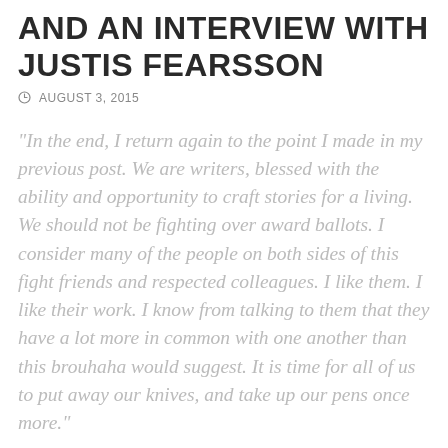AND AN INTERVIEW WITH JUSTIS FEARSSON
AUGUST 3, 2015
“In the end, I return again to the point I made in my previous post. We are writers, blessed with the ability and opportunity to craft stories for a living. We should not be fighting over award ballots. I consider many of the people on both sides of this fight friends and respected colleagues. I like them. I like their work. I know from talking to them that they have a lot more in common with one another than this brouhaha would suggest. It is time for all of us to put away our knives, and take up our pens once more.”
I have two new posts up today on the 2015 Summer-of-Two-Releases Virtual Tour. The first, excerpted above, is at Black Gate. It is called “Enough, part II,” and it is a continuation of the